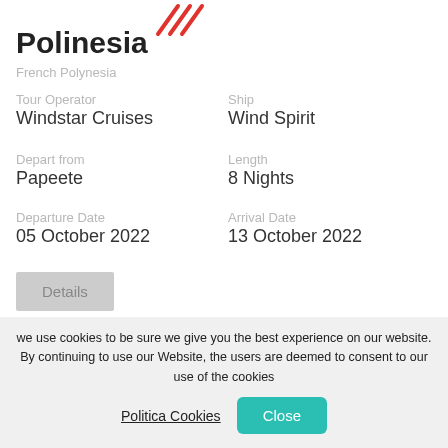Polinesia
French Polynesia
Tour Operator: Windstar Cruises | Ship: Wind Spirit
Depart from: Papeete | Length: 8 Nights
Departure Date: 05 October 2022 | Arrival Date: 13 October 2022
Details
we use cookies to be sure we give you the best experience on our website. By continuing to use our Website, the users are deemed to consent to our use of the cookies
Politica Cookies
Close